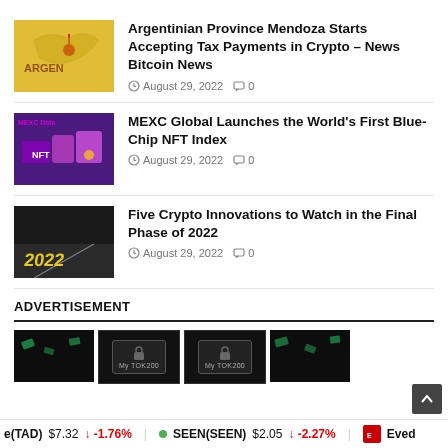[Figure (photo): Thumbnail of Argentina map with gold/yellow colors]
Argentinian Province Mendoza Starts Accepting Tax Payments in Crypto – News Bitcoin News
August 29, 2022  0
[Figure (photo): MEXC Global NFT promotion banner with purple background and 3D NFT visuals]
MEXC Global Launches the World's First Blue-Chip NFT Index
August 29, 2022  0
[Figure (photo): Dark asphalt road with '2022' text painted in yellow, representing the final phase of 2022]
Five Crypto Innovations to Watch in the Final Phase of 2022
August 29, 2022  0
ADVERTISEMENT
e(TAD) $7.32 ↓ -1.76%  SEEN(SEEN) $2.05 ↓ -2.27%  Eved